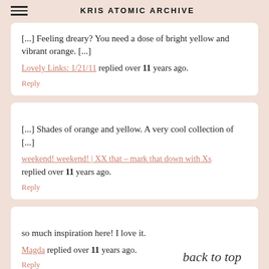KRIS ATOMIC ARCHIVE
[...] Feeling dreary? You need a dose of bright yellow and vibrant orange. [...]
Lovely Links: 1/21/11 replied over 11 years ago.
Reply
[...] Shades of orange and yellow. A very cool collection of [...]
weekend! weekend! | XX that - mark that down with Xs replied over 11 years ago.
Reply
so much inspiration here! I love it.
Magda replied over 11 years ago.
Reply
back to top